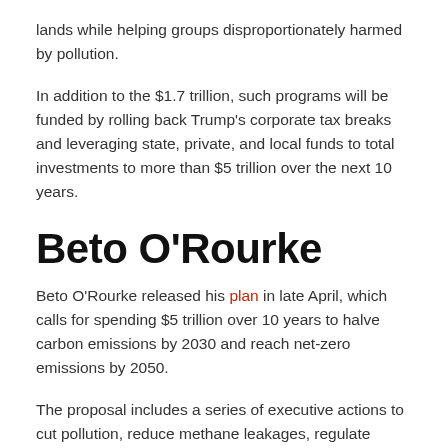lands while helping groups disproportionately harmed by pollution.
In addition to the $1.7 trillion, such programs will be funded by rolling back Trump's corporate tax breaks and leveraging state, private, and local funds to total investments to more than $5 trillion over the next 10 years.
Beto O'Rourke
Beto O'Rourke released his plan in late April, which calls for spending $5 trillion over 10 years to halve carbon emissions by 2030 and reach net-zero emissions by 2050.
The proposal includes a series of executive actions to cut pollution, reduce methane leakages, regulate